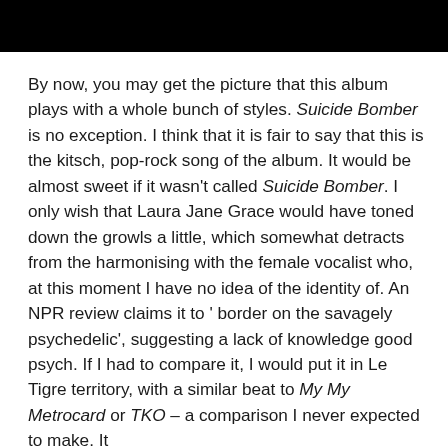[Figure (photo): Black rectangular banner/header image at the top of the page]
By now, you may get the picture that this album plays with a whole bunch of styles. Suicide Bomber is no exception. I think that it is fair to say that this is the kitsch, pop-rock song of the album. It would be almost sweet if it wasn't called Suicide Bomber. I only wish that Laura Jane Grace would have toned down the growls a little, which somewhat detracts from the harmonising with the female vocalist who, at this moment I have no idea of the identity of. An NPR review claims it to ' border on the savagely psychedelic', suggesting a lack of knowledge good psych. If I had to compare it, I would put it in Le Tigre territory, with a similar beat to My My Metrocard or TKO – a comparison I never expected to make. It